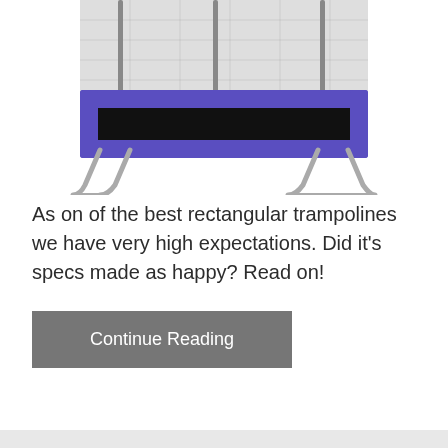[Figure (photo): Bottom portion of a rectangular trampoline with blue/purple padded edges, black jumping mat, metal frame legs, and safety enclosure net poles visible. White background.]
As on of the best rectangular trampolines we have very high expectations. Did it's specs made as happy? Read on!
Continue Reading